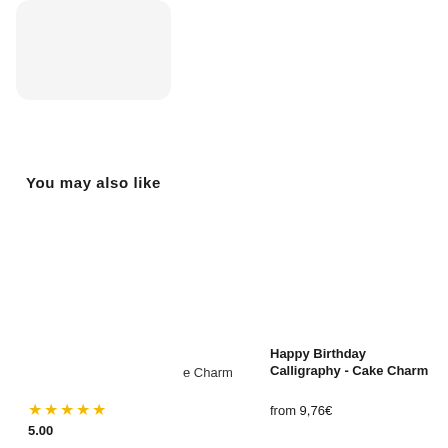You may also like
[Figure (other): Rounded rectangle product image placeholder card, white/light gray background]
★★★★★
5.00
e Charm
Happy Birthday Calligraphy - Cake Charm
from 9,76€